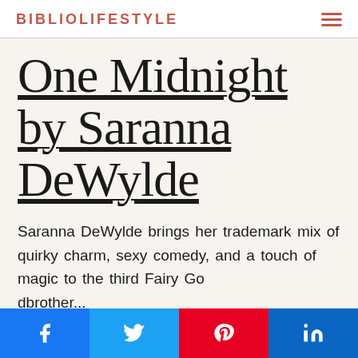BIBLIOLIFESTYLE
One Midnight by Saranna DeWylde
Saranna DeWylde brings her trademark mix of quirky charm, sexy comedy, and a touch of magic to the third Fairy Godbrother...